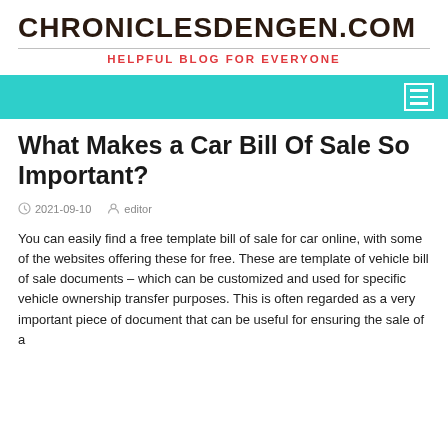CHRONICLESDENGEN.COM
HELPFUL BLOG FOR EVERYONE
What Makes a Car Bill Of Sale So Important?
2021-09-10   editor
You can easily find a free template bill of sale for car online, with some of the websites offering these for free. These are template of vehicle bill of sale documents – which can be customized and used for specific vehicle ownership transfer purposes. This is often regarded as a very important piece of document that can be useful for ensuring the sale of a